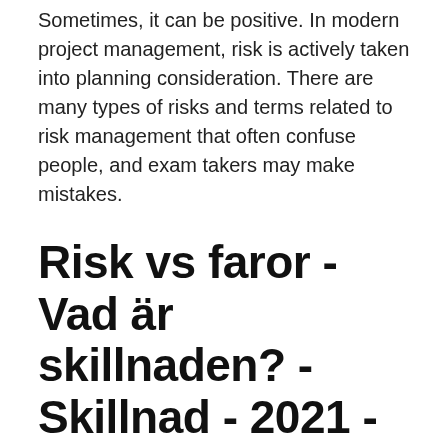Sometimes, it can be positive. In modern project management, risk is actively taken into planning consideration. There are many types of risks and terms related to risk management that often confuse people, and exam takers may make mistakes.
Risk vs faror - Vad är skillnaden? - Skillnad - 2021 - ijsc-online
The risk of [my friend] falling is actually very low. Risk vs Opportunity Generally speaking, the goal of strategy is not to maximize opportunity and the goal of risk management is not to minimize risk. Both